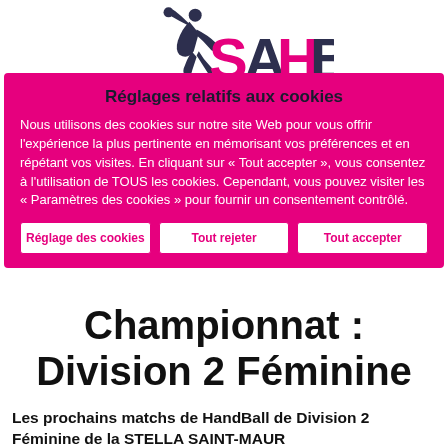[Figure (logo): SAHB handball logo with stylized player figure in dark navy/pink colors and text SAHB]
Réglages relatifs aux cookies
Nous utilisons des cookies sur notre site Web pour vous offrir l'expérience la plus pertinente en mémorisant vos préférences et en répétant vos visites. En cliquant sur « Tout accepter », vous consentez à l'utilisation de TOUS les cookies. Cependant, vous pouvez visiter les « Paramètres des cookies » pour fournir un consentement contrôlé.
Réglage des cookies | Tout rejeter | Tout accepter
Championnat : Division 2 Féminine
Les prochains matchs de HandBall de Division 2 Féminine de la STELLA SAINT-MAUR...